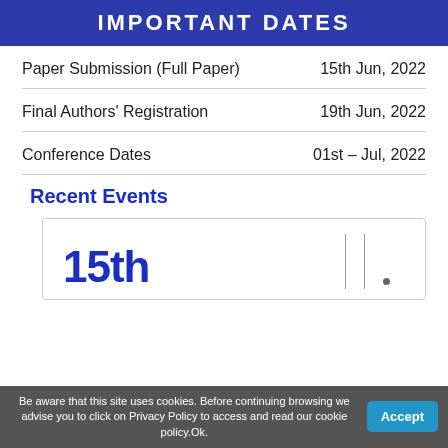IMPORTANT DATES
Paper Submission (Full Paper)  15th Jun, 2022
Final Authors' Registration  19th Jun, 2022
Conference Dates  01st – Jul, 2022
Recent Events
[Figure (other): Event card showing '15th' in large bold blue text with vertical separator lines]
Be aware that this site uses cookies. Before continuing browsing we advise you to click on Privacy Policy to access and read our cookie policy.Ok.